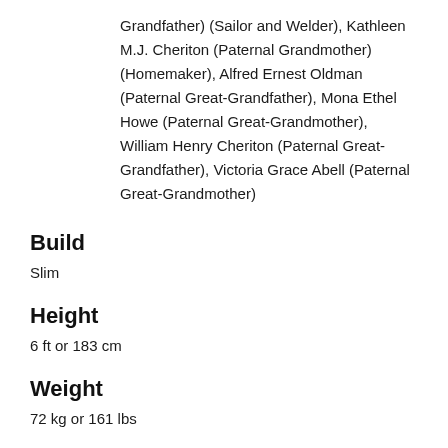Grandfather) (Sailor and Welder), Kathleen M.J. Cheriton (Paternal Grandmother) (Homemaker), Alfred Ernest Oldman (Paternal Great-Grandfather), Mona Ethel Howe (Paternal Great-Grandmother), William Henry Cheriton (Paternal Great-Grandfather), Victoria Grace Abell (Paternal Great-Grandmother)
Build
Slim
Height
6 ft or 183 cm
Weight
72 kg or 161 lbs